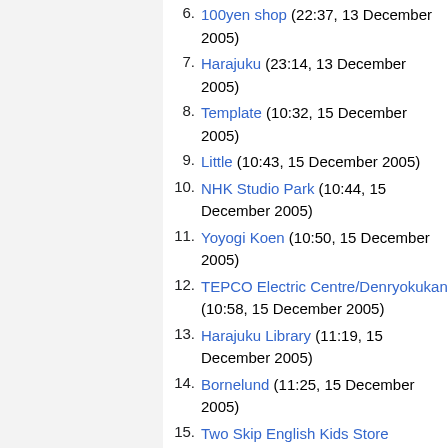6. 100yen shop (22:37, 13 December 2005)
7. Harajuku (23:14, 13 December 2005)
8. Template (10:32, 15 December 2005)
9. Little (10:43, 15 December 2005)
10. NHK Studio Park (10:44, 15 December 2005)
11. Yoyogi Koen (10:50, 15 December 2005)
12. TEPCO Electric Centre/Denryokukan (10:58, 15 December 2005)
13. Harajuku Library (11:19, 15 December 2005)
14. Bornelund (11:25, 15 December 2005)
15. Two Skip English Kids Store